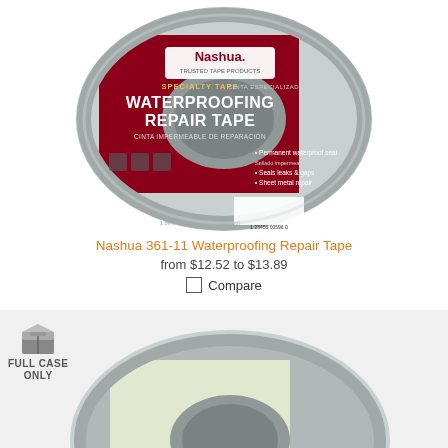[Figure (photo): Roll of Nashua 361-11 Waterproofing Repair Tape with silver/metallic exterior and dark red label showing product name, features, and barcode]
Nashua 361-11 Waterproofing Repair Tape
from $12.52 to $13.89
Compare
[Figure (photo): Partial view of a roll of silver tape with a FULL CASE ONLY badge overlay showing a box icon]